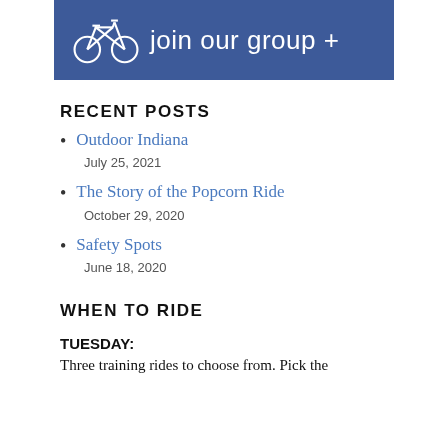[Figure (illustration): Blue banner with white bicycle icon on the left and text 'join our group +' on the right]
RECENT POSTS
Outdoor Indiana
July 25, 2021
The Story of the Popcorn Ride
October 29, 2020
Safety Spots
June 18, 2020
WHEN TO RIDE
TUESDAY:
Three training rides to choose from. Pick the